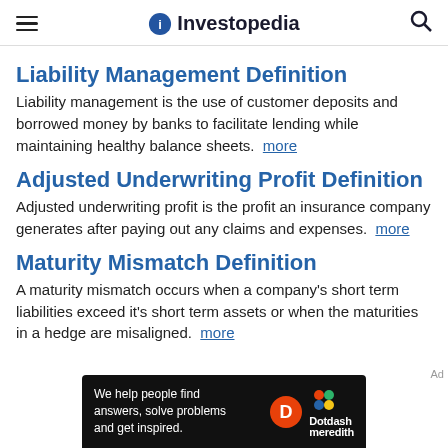Investopedia
Liability Management Definition
Liability management is the use of customer deposits and borrowed money by banks to facilitate lending while maintaining healthy balance sheets. more
Adjusted Underwriting Profit Definition
Adjusted underwriting profit is the profit an insurance company generates after paying out any claims and expenses. more
Maturity Mismatch Definition
A maturity mismatch occurs when a company's short term liabilities exceed it's short term assets or when the maturities in a hedge are misaligned. more
[Figure (other): Advertisement banner: We help people find answers, solve problems and get inspired. Dotdash Meredith logo.]